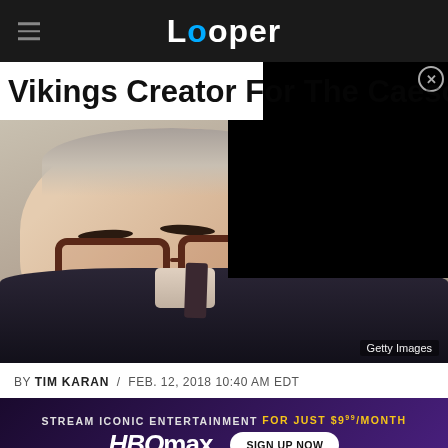Looper
Vikings Creator For The Caesars
[Figure (photo): Close-up photo of Martin Scorsese wearing dark-rimmed glasses, grey hair, wearing a dark suit. A black video overlay covers the upper right portion. Getty Images credit shown in lower right.]
BY TIM KARAN / FEB. 12, 2018 10:40 AM EDT
[Figure (infographic): HBO Max advertisement banner: 'STREAM ICONIC ENTERTAINMENT FOR JUST $9.99/MONTH' with HBO Max logo and SIGN UP NOW button on purple gradient background.]
Martin and